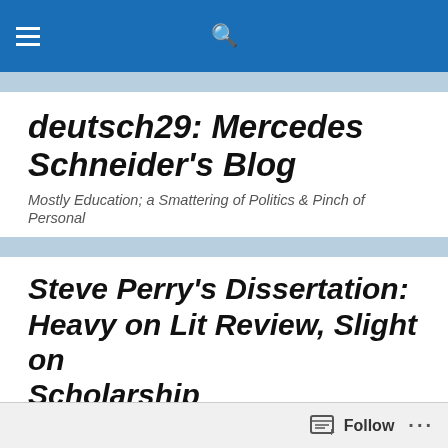deutsch29: Mercedes Schneider's Blog — navigation header with hamburger menu and search icon
deutsch29: Mercedes Schneider's Blog
Mostly Education; a Smattering of Politics & Pinch of Personal
Steve Perry's Dissertation: Heavy on Lit Review, Slight on Scholarship
As a classroom teacher, a real teacher– real in the sense of both my credentials and my experience– I am
Follow